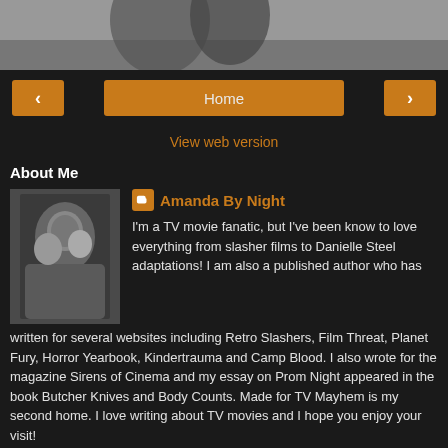[Figure (photo): Black and white photo of two people, appears to be a header image]
[Figure (screenshot): Navigation bar with left arrow, Home button, and right arrow in orange/amber color]
View web version
About Me
[Figure (photo): Black and white profile photo of two people]
Amanda By Night
I'm a TV movie fanatic, but I've been know to love everything from slasher films to Danielle Steel adaptations! I am also a published author who has written for several websites including Retro Slashers, Film Threat, Planet Fury, Horror Yearbook, Kindertrauma and Camp Blood. I also wrote for the magazine Sirens of Cinema and my essay on Prom Night appeared in the book Butcher Knives and Body Counts. Made for TV Mayhem is my second home. I love writing about TV movies and I hope you enjoy your visit!
View my complete profile
Powered by Blogger.